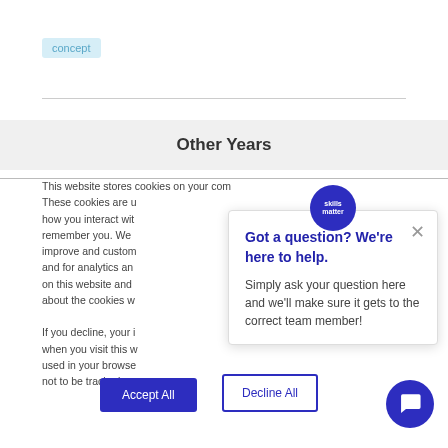concept
Other Years
This website stores cookies on your computer. These cookies are used to collect information about how you interact with our website and allow us to remember you. We use this information in order to improve and customise your browsing experience and for analytics and metrics about our visitors both on this website and other media. To find out more about the cookies we use, see our Privacy Policy.
If you decline, your information won't be tracked when you visit this website. A single cookie will be used in your browser to remember your preference not to be tracked.
[Figure (screenshot): Chat popup with Skills Matter logo, close button, and text: 'Got a question? We're here to help. Simply ask your question here and we'll make sure it gets to the correct team member!']
Accept All
Decline All